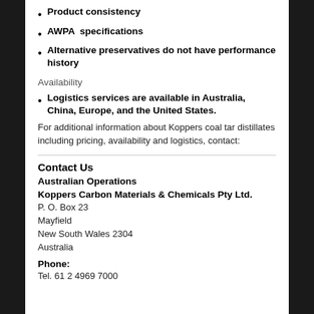Product consistency
AWPA  specifications
Alternative preservatives do not have performance history
Availability
Logistics services are available in Australia, China, Europe, and the United States.
For additional information about Koppers coal tar distillates including pricing, availability and logistics, contact:
Contact Us
Australian Operations
Koppers Carbon Materials & Chemicals Pty Ltd.
P. O. Box 23
Mayfield
New South Wales 2304
Australia
Phone:
Tel. 61 2 4969 7000